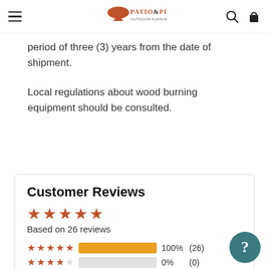Patio & Pizza Outdoor Furnishings — navigation bar with hamburger menu, logo, search and cart icons
period of three (3) years from the date of shipment.
Local regulations about wood burning equipment should be consulted.
Customer Reviews
★★★★★ Based on 26 reviews
★★★★★ 100% (26)
★★★★☆ 0% (0)